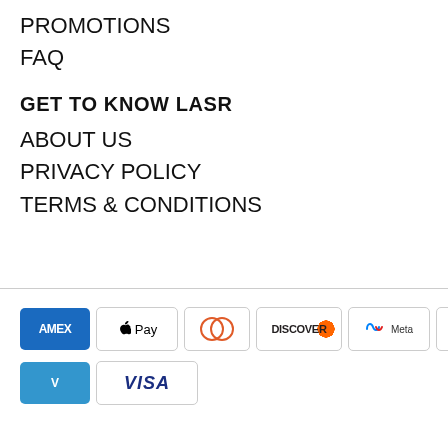PROMOTIONS
FAQ
GET TO KNOW LASR
ABOUT US
PRIVACY POLICY
TERMS & CONDITIONS
[Figure (other): Payment method icons: AMEX, Apple Pay, Diners Club, Discover, Meta Pay, Google Pay, Mastercard, and partially visible others; second row: Venmo, Visa]
[Figure (other): Back to top button with pink triangle outline on black background, text BACK TO TOP]